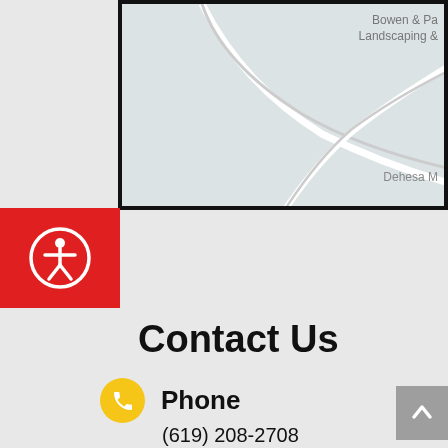[Figure (map): Google Maps or similar map screenshot showing location near 'Bowen & Pa... Landscaping &...' and 'Dehesa M...' labels, with road lines visible]
[Figure (other): Red square button with white accessibility (person-in-circle) icon]
Contact Us
Phone
(619) 208-2708
Address
103 Vista Way,
El Cajon, CA 92021
Hours